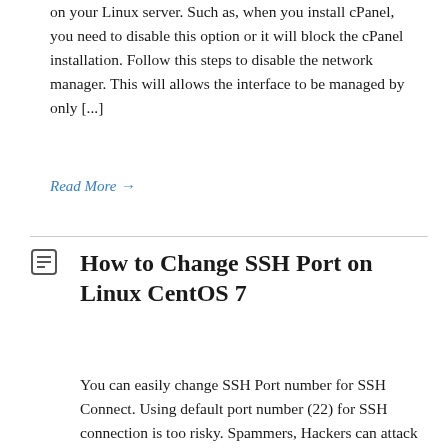Sometimes you need to disable NetworkManager on your Linux server. Such as, when you install cPanel, you need to disable this option or it will block the cPanel installation. Follow this steps to disable the network manager. This will allows the interface to be managed by only [...]
Read More →
How to Change SSH Port on Linux CentOS 7
You can easily change SSH Port number for SSH Connect. Using default port number (22) for SSH connection is too risky. Spammers, Hackers can attack your server using default port number. It is highly recommend to change SSH Port for your Linux VPS server. Steps to change SSH Port on